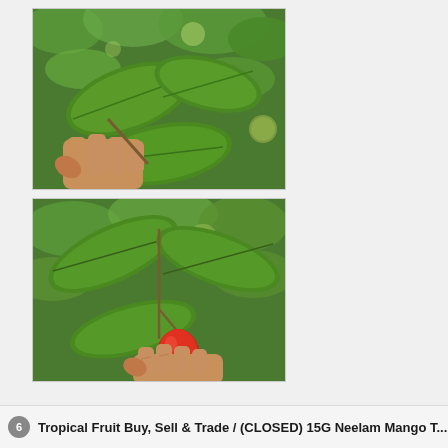[Figure (photo): A hand holding green leaves on a plant branch outdoors with green foliage background]
[Figure (photo): A hand holding a small red oval fruit (possibly a miracle berry or similar) on a plant branch with green leaves outdoors]
6  Tropical Fruit Buy, Sell & Trade / (CLOSED) 15G Neelam Mango T...